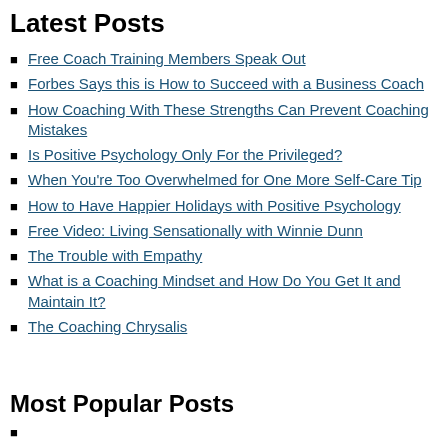Latest Posts
Free Coach Training Members Speak Out
Forbes Says this is How to Succeed with a Business Coach
How Coaching With These Strengths Can Prevent Coaching Mistakes
Is Positive Psychology Only For the Privileged?
When You're Too Overwhelmed for One More Self-Care Tip
How to Have Happier Holidays with Positive Psychology
Free Video: Living Sensationally with Winnie Dunn
The Trouble with Empathy
What is a Coaching Mindset and How Do You Get It and Maintain It?
The Coaching Chrysalis
Most Popular Posts